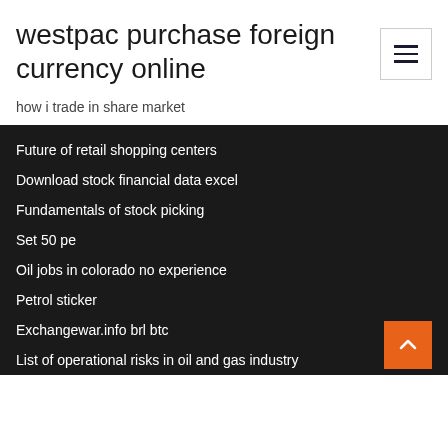westpac purchase foreign currency online
how i trade in share market
Future of retail shopping centers
Download stock financial data excel
Fundamentals of stock picking
Set 50 pe
Oil jobs in colorado no experience
Petrol sticker
Exchangewar.info brl btc
List of operational risks in oil and gas industry